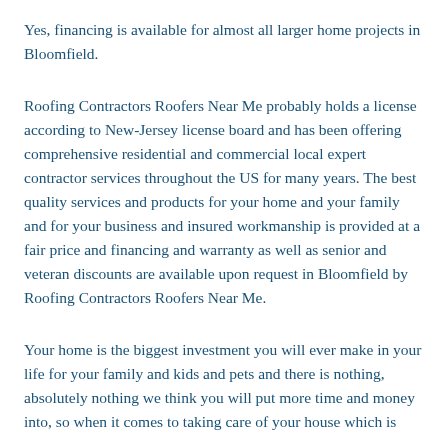Yes, financing is available for almost all larger home projects in Bloomfield.
Roofing Contractors Roofers Near Me probably holds a license according to New-Jersey license board and has been offering comprehensive residential and commercial local expert contractor services throughout the US for many years. The best quality services and products for your home and your family and for your business and insured workmanship is provided at a fair price and financing and warranty as well as senior and veteran discounts are available upon request in Bloomfield by Roofing Contractors Roofers Near Me.
Your home is the biggest investment you will ever make in your life for your family and kids and pets and there is nothing, absolutely nothing we think you will put more time and money into, so when it comes to taking care of your house which is